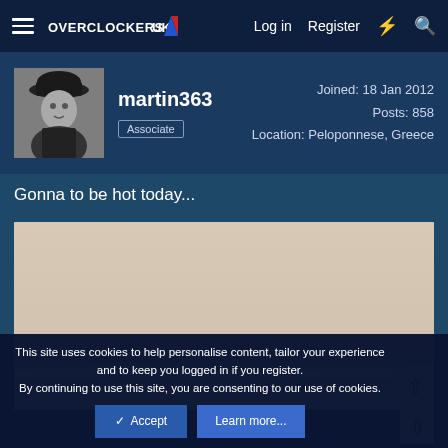OVERCLOCKERS UK  Log in  Register
[Figure (photo): Black and white profile photo of a person wearing a wide-brimmed hat]
martin363
Associate
Joined: 18 Jan 2012
Posts: 858
Location: Peloponnese, Greece
Gonna to be hot today...
[Figure (photo): Photo showing a beige/cream colored surface, likely outdoor pavement or wall in bright sunlight]
This site uses cookies to help personalise content, tailor your experience and to keep you logged in if you register.
By continuing to use this site, you are consenting to our use of cookies.
✓ Accept    Learn more...